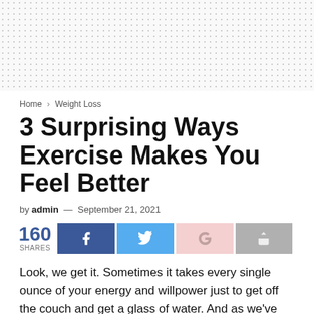[Figure (other): Dotted pattern banner background area at top of page]
Home > Weight Loss
3 Surprising Ways Exercise Makes You Feel Better
by admin — September 21, 2021
[Figure (infographic): Social share buttons row: 160 SHARES, Facebook, Twitter, Google+, share arrow buttons]
Look, we get it. Sometimes it takes every single ounce of your energy and willpower just to get off the couch and get a glass of water. And as we've wrote about previously, if you really want to move the weight loss